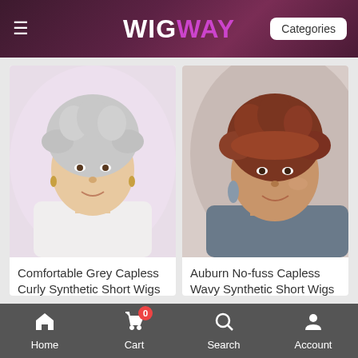WIGWAY — Categories
[Figure (photo): Product photo of a woman wearing a short grey curly wig]
Comfortable Grey Capless Curly Synthetic Short Wigs
★★★★☆ AU$157.00
[Figure (photo): Product photo of a woman wearing a short auburn wavy wig]
Auburn No-fuss Capless Wavy Synthetic Short Wigs
★★★★☆ AU$157.00
Home  Cart 0  Search  Account